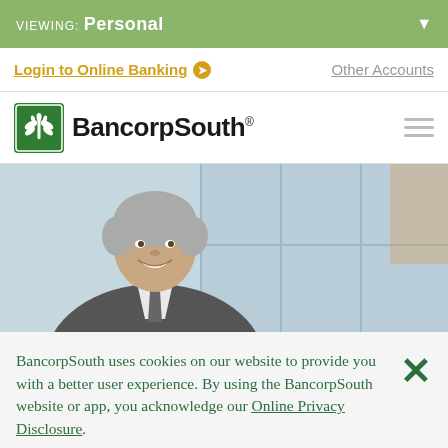VIEWING: Personal
Login to Online Banking  Other Accounts
[Figure (logo): BancorpSouth logo with green tree icon and bold text]
[Figure (photo): Smiling middle-aged businessman with gray hair in a suit, standing in a modern office environment]
BancorpSouth uses cookies on our website to provide you with a better user experience. By using the BancorpSouth website or app, you acknowledge our Online Privacy Disclosure.